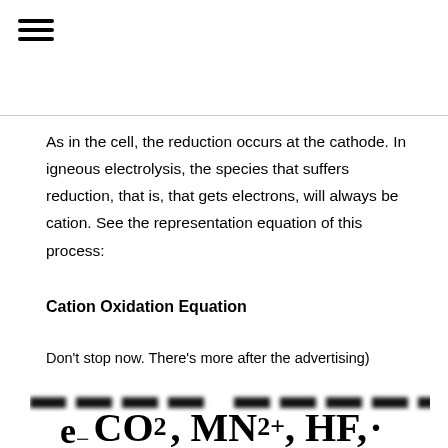≡ (menu icon)
As in the cell, the reduction occurs at the cathode. In igneous electrolysis, the species that suffers reduction, that is, that gets electrons, will always be cation. See the representation equation of this process:
Cation Oxidation Equation
Don't stop now. There's more after the advertising)
[Figure (other): Blurred/obscured text line (advertisement overlay)]